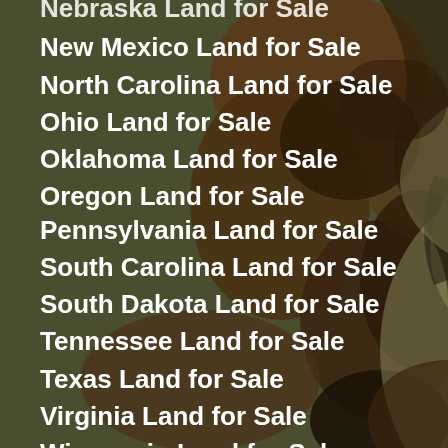Nebraska Land for Sale
New Mexico Land for Sale
North Carolina Land for Sale
Ohio Land for Sale
Oklahoma Land for Sale
Oregon Land for Sale
Pennsylvania Land for Sale
South Carolina Land for Sale
South Dakota Land for Sale
Tennessee Land for Sale
Texas Land for Sale
Virginia Land for Sale
Wisconsin Land for Sale
Wyoming Land for Sale